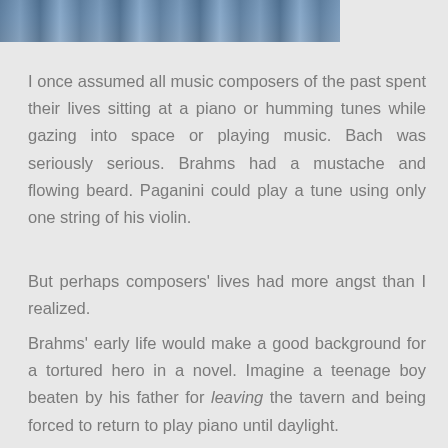[Figure (photo): Partial photograph of a person, cropped at the top of the page, showing upper body area with blue/grey tones]
I once assumed all music composers of the past spent their lives sitting at a piano or humming tunes while gazing into space or playing music. Bach was seriously serious. Brahms had a mustache and flowing beard. Paganini could play a tune using only one string of his violin.
But perhaps composers' lives had more angst than I realized.
Brahms' early life would make a good background for a tortured hero in a novel. Imagine a teenage boy beaten by his father for leaving the tavern and being forced to return to play piano until daylight.